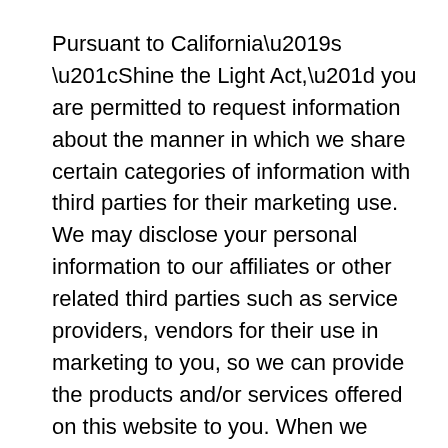Pursuant to California’s “Shine the Light Act,” you are permitted to request information about the manner in which we share certain categories of information with third parties for their marketing use. We may disclose your personal information to our affiliates or other related third parties such as service providers, vendors for their use in marketing to you, so we can provide the products and/or services offered on this website to you. When we disclose such information, your personal information is still kept confidential and between us and that third party. It is not used for any other purpose that’s not permitted under the laws.
Please be advised we DO NOT SELL YOUR